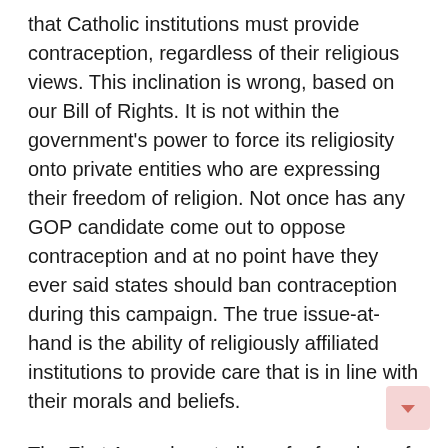that Catholic institutions must provide contraception, regardless of their religious views. This inclination is wrong, based on our Bill of Rights. It is not within the government's power to force its religiosity onto private entities who are expressing their freedom of religion. Not once has any GOP candidate come out to oppose contraception and at no point have they ever said states should ban contraception during this campaign. The true issue-at-hand is the ability of religiously affiliated institutions to provide care that is in line with their morals and beliefs.
The First Amendment allows for freedom of religion, not freedom from religion. The Obama administration would be wise to take this fact into consideration before trying to force Catholic institutions to provide services that are not “rights” in any sense of the word. Let’s say the government mandates that birth control, which is very